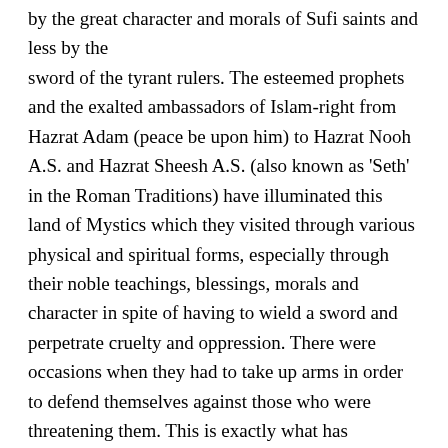by the great character and morals of Sufi saints and less by the sword of the tyrant rulers. The esteemed prophets and the exalted ambassadors of Islam-right from Hazrat Adam (peace be upon him) to Hazrat Nooh A.S. and Hazrat Sheesh A.S. (also known as 'Seth' in the Roman Traditions) have illuminated this land of Mystics which they visited through various physical and spiritual forms, especially through their noble teachings, blessings, morals and character in spite of having to wield a sword and perpetrate cruelty and oppression. There were occasions when they had to take up arms in order to defend themselves against those who were threatening them. This is exactly what has happened to Shri Krishna who had to command Arjuna to fight against his own kith and kin. Even though Arjuna pleaded for mercy for his former gurus and elderly teachers. But Shri Krishna strongly recommended that it was not Arjun, but in fact